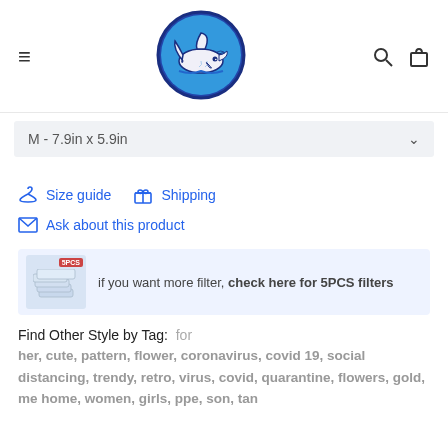[Figure (logo): Shark logo in blue circle with dark blue outline]
M - 7.9in x 5.9in
Size guide
Shipping
Ask about this product
if you want more filter, check here for 5PCS filters
Find Other Style by Tag:  for her, cute, pattern, flower, coronavirus, covid 19, social distancing, trendy, retro, virus, covid, quarantine, flowers, gold, me home, women, girls, ppe, son, tan